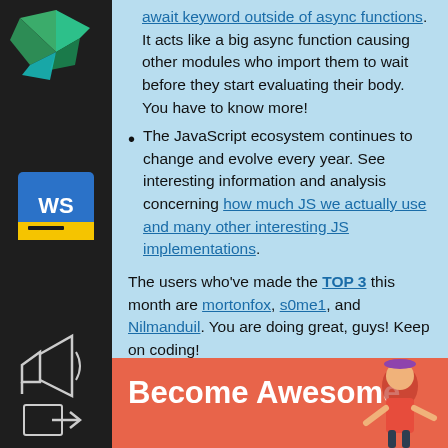[Figure (logo): Dark sidebar with JetBrains logo (origami-style green/teal geometric shape) and WebStorm IDE icon (WS in blue/yellow), megaphone icon, and sign-in icon]
await keyword outside of async functions. It acts like a big async function causing other modules who import them to wait before they start evaluating their body. You have to know more!
The JavaScript ecosystem continues to change and evolve every year. See interesting information and analysis concerning how much JS we actually use and many other interesting JS implementations.
The users who've made the TOP 3 this month are mortonfox, s0me1, and Nilmanduil. You are doing great, guys! Keep on coding!
Become Awesome